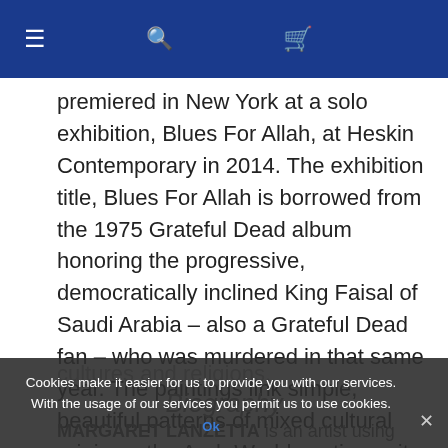☰ 🔍 🛒
premiered in New York at a solo exhibition, Blues For Allah, at Heskin Contemporary in 2014. The exhibition title, Blues For Allah is borrowed from the 1975 Grateful Dead album honoring the progressive, democratically inclined King Faisal of Saudi Arabia – also a Grateful Dead fan – who was murdered in that same year. The paintings link simple, beautiful patterns of mixed cultural origin as the Arab World continues its seismic journey of political, religious and social reform. Timeless tropes of architecture, design and decoration are subverted to reflect on nationalist, spiritual quests inherent in the world's globalized cacophony of cultures and religions.
Biography
MARGARET LANZETTA is an artist using abstract, culturally-significant pattern to explore post-modern
Cookies make it easier for us to provide you with our services. With the usage of our services you permit us to use cookies.
Ok